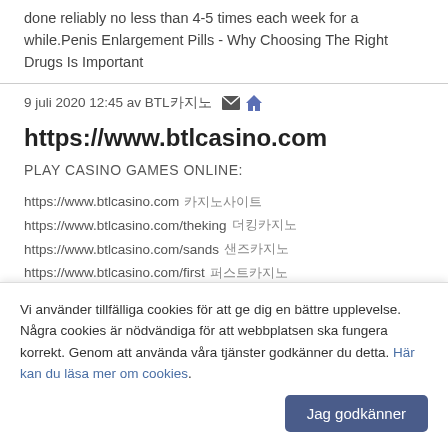done reliably no less than 4-5 times each week for a while.Penis Enlargement Pills - Why Choosing The Right Drugs Is Important
9 juli 2020 12:45 av BTL카지노 [mail icon] [home icon]
https://www.btlcasino.com
PLAY CASINO GAMES ONLINE:
https://www.btlcasino.com 카지노사이트
https://www.btlcasino.com/theking 더킹카지노
https://www.btlcasino.com/sands 샌즈카지노
https://www.btlcasino.com/first 퍼스트카지노
https://www.btlcasino.com/yes 예스카지노
https://www.btlcasino.com/super 슈퍼카지노
https://www.btlcasino.com/gatsby 개츠비카지노
Vi använder tillfälliga cookies för att ge dig en bättre upplevelse. Några cookies är nödvändiga för att webbplatsen ska fungera korrekt. Genom att använda våra tjänster godkänner du detta. Här kan du läsa mer om cookies.
Jag godkänner